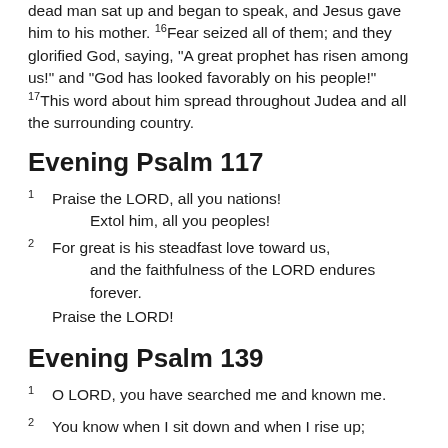dead man sat up and began to speak, and Jesus gave him to his mother. 16Fear seized all of them; and they glorified God, saying, "A great prophet has risen among us!" and "God has looked favorably on his people!" 17This word about him spread throughout Judea and all the surrounding country.
Evening Psalm 117
1 Praise the LORD, all you nations!
  Extol him, all you peoples!
2 For great is his steadfast love toward us,
  and the faithfulness of the LORD endures forever.
  Praise the LORD!
Evening Psalm 139
1 O LORD, you have searched me and known me.
2 You know when I sit down and when I rise up;